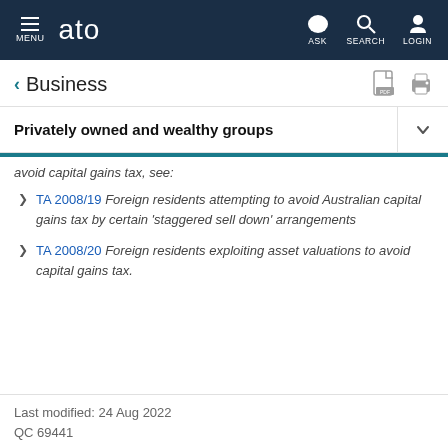MENU | ato | ASK | SEARCH | LOGIN
< Business
Privately owned and wealthy groups
avoid capital gains tax, see:
TA 2008/19 Foreign residents attempting to avoid Australian capital gains tax by certain 'staggered sell down' arrangements
TA 2008/20 Foreign residents exploiting asset valuations to avoid capital gains tax.
Last modified: 24 Aug 2022
QC 69441